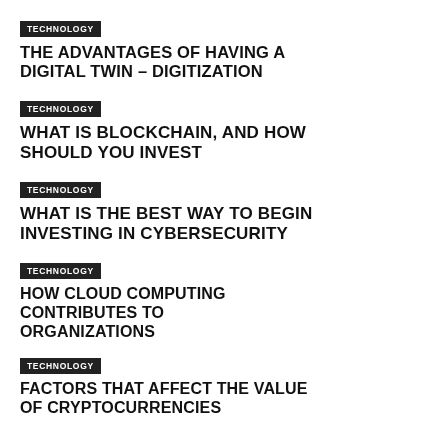TECHNOLOGY
THE ADVANTAGES OF HAVING A DIGITAL TWIN – DIGITIZATION
TECHNOLOGY
WHAT IS BLOCKCHAIN, AND HOW SHOULD YOU INVEST
TECHNOLOGY
WHAT IS THE BEST WAY TO BEGIN INVESTING IN CYBERSECURITY
TECHNOLOGY
HOW CLOUD COMPUTING CONTRIBUTES TO ORGANIZATIONS
TECHNOLOGY
FACTORS THAT AFFECT THE VALUE OF CRYPTOCURRENCIES